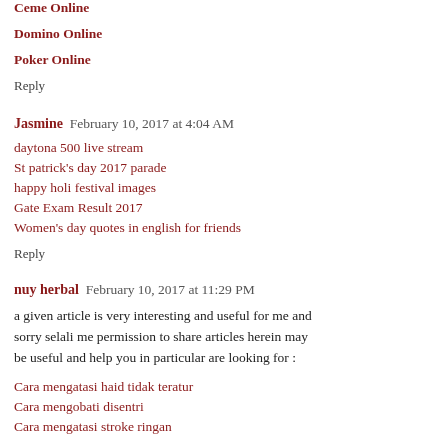Ceme Online
Domino Online
Poker Online
Reply
Jasmine  February 10, 2017 at 4:04 AM
daytona 500 live stream
St patrick's day 2017 parade
happy holi festival images
Gate Exam Result 2017
Women's day quotes in english for friends
Reply
nuy herbal  February 10, 2017 at 11:29 PM
a given article is very interesting and useful for me and sorry selali me permission to share articles herein may be useful and help you in particular are looking for :
Cara mengatasi haid tidak teratur
Cara mengobati disentri
Cara mengatasi stroke ringan